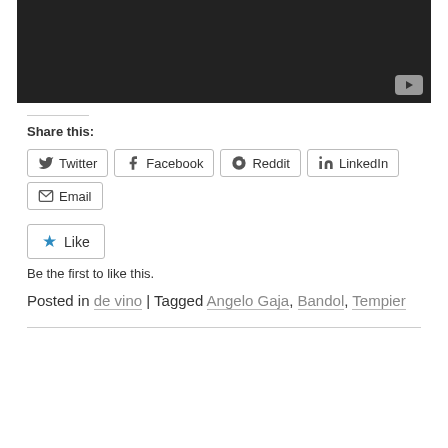[Figure (screenshot): Dark video thumbnail with YouTube play button in bottom right corner]
Share this:
Twitter  Facebook  Reddit  LinkedIn  Email
Like  Be the first to like this.
Posted in de vino | Tagged Angelo Gaja, Bandol, Tempier